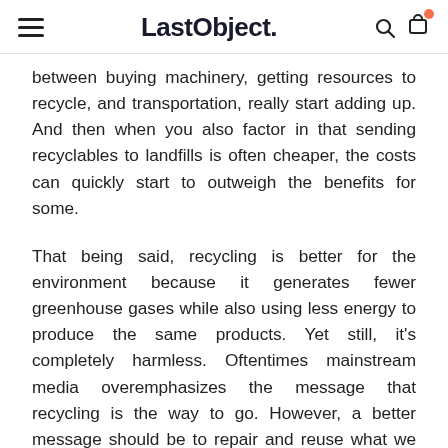LastObject.
between buying machinery, getting resources to recycle, and transportation, really start adding up. And then when you also factor in that sending recyclables to landfills is often cheaper, the costs can quickly start to outweigh the benefits for some.
That being said, recycling is better for the environment because it generates fewer greenhouse gases while also using less energy to produce the same products. Yet still, it's completely harmless. Oftentimes mainstream media overemphasizes the message that recycling is the way to go. However, a better message should be to repair and reuse what we already have, which will reduce the need for